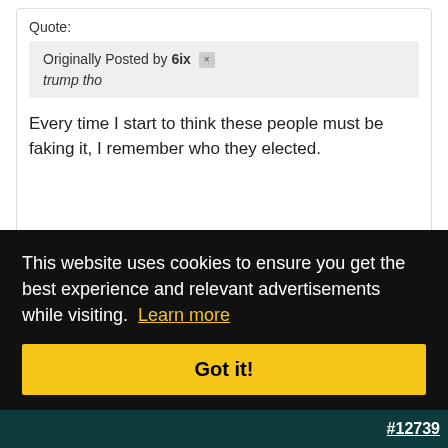Quote:
Originally Posted by 6ix
trump tho
Every time I start to think these people must be faking it, I remember who they elected.
#12738
This website uses cookies to ensure you get the best experience and relevant advertisements while visiting. Learn more
Got it!
#12739